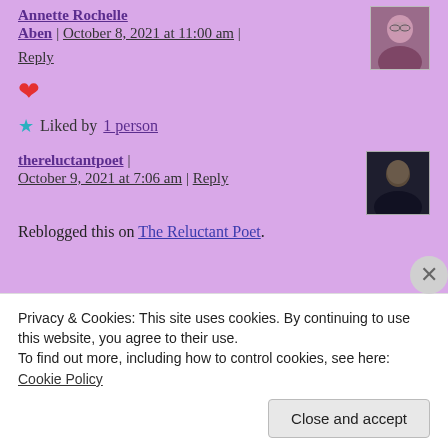Annette Rochelle Aben | October 8, 2021 at 11:00 am | Reply
[Figure (photo): Avatar photo of a woman with glasses wearing purple]
❤️
★ Liked by 1 person
thereluctantpoet | October 9, 2021 at 7:06 am | Reply
[Figure (photo): Avatar photo of a man in dark clothing]
Reblogged this on The Reluctant Poet.
Privacy & Cookies: This site uses cookies. By continuing to use this website, you agree to their use. To find out more, including how to control cookies, see here: Cookie Policy
Close and accept